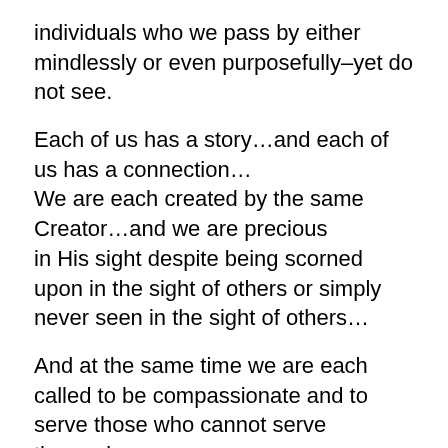individuals who we pass by either mindlessly or even purposefully–yet do not see.
Each of us has a story…and each of us has a connection…
We are each created by the same Creator…and we are precious
in His sight despite being scorned upon in the sight of others or simply
never seen in the sight of others…
And at the same time we are each called to be compassionate and to serve those who cannot serve themselves…..
As the words of this most astute saint haunt us to this day:
I have come hither today to undertake a righteous mission